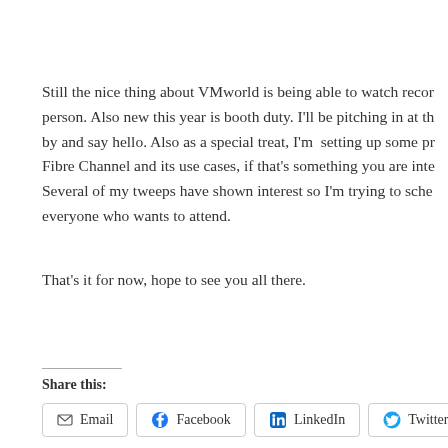Still the nice thing about VMworld is being able to watch recor person. Also new this year is booth duty. I'll be pitching in at th by and say hello. Also as a special treat, I'm  setting up some pr Fibre Channel and its use cases, if that's something you are inte Several of my tweeps have shown interest so I'm trying to sche everyone who wants to attend.
That's it for now, hope to see you all there.
Share this:
Email | Facebook | LinkedIn | Twitter